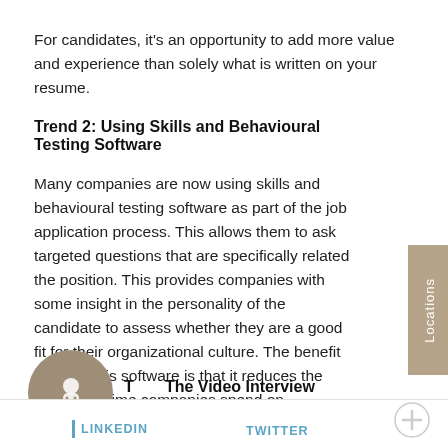For candidates, it's an opportunity to add more value and experience than solely what is written on your resume.
Trend 2: Using Skills and Behavioural Testing Software
Many companies are now using skills and behavioural testing software as part of the job application process. This allows them to ask targeted questions that are specifically related the position. This provides companies with some insight in the personality of the candidate to assess whether they are a good fit for their organizational culture. The benefit of using this software is that it reduces the amount of time companies spend on screening and helps them focus on interviewing candidates who are better aligned with their core beliefs.
Trend 3: The Video Interview
LINKEDIN   TWITTER